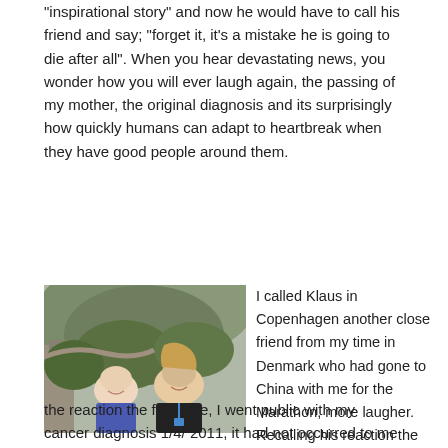“inspirational story” and now he would have to call his friend and say; “forget it, it’s a mistake he is going to die after all”. When you hear devastating news, you wonder how you will ever laugh again, the passing of my mother, the original diagnosis and its surprisingly how quickly humans can adapt to heartbreak when they have good people around them.
[Figure (photo): Two men smiling on the Great Wall of China. The man on the left is bald and wearing a blue sleeveless vest. The man on the right has long blonde hair and is wearing a black shirt with a blue lanyard. Mountains and greenery are visible in the background.]
I called Klaus in Copenhagen another close friend from my time in Denmark who had gone to China with me for the Marathon, more laugher. Recalling his reaction the first time, I went public with my cancer diagnosis 1/4/ 2011, it had not occurred to me that it was April Fools Day. Then recalling the
the reaction the first time, I went public with my cancer diagnosis 1/4/ 2011, it had not occurred to me that it was April Fools Day. Then recalling the